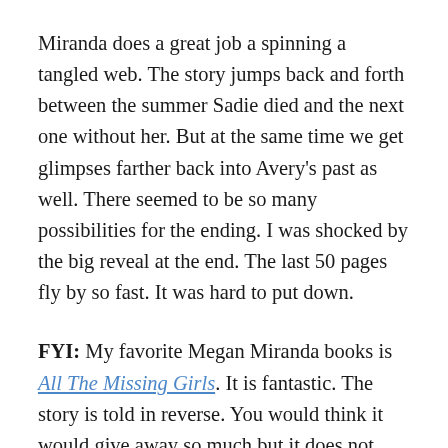Miranda does a great job a spinning a tangled web. The story jumps back and forth between the summer Sadie died and the next one without her. But at the same time we get glimpses farther back into Avery's past as well. There seemed to be so many possibilities for the ending. I was shocked by the big reveal at the end. The last 50 pages fly by so fast. It was hard to put down.
FYI: My favorite Megan Miranda books is All The Missing Girls. It is fantastic. The story is told in reverse. You would think it would give away so much but it does not. Both of these books are perfect for your summer reading list!